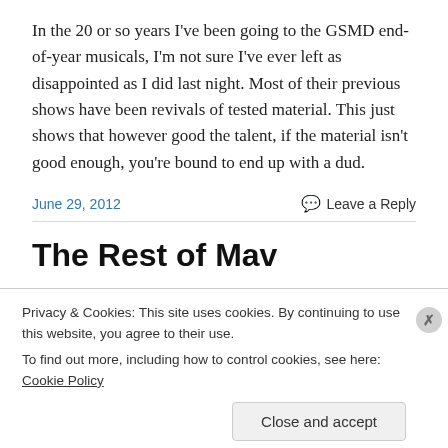In the 20 or so years I've been going to the GSMD end-of-year musicals, I'm not sure I've ever left as disappointed as I did last night. Most of their previous shows have been revivals of tested material. This just shows that however good the talent, if the material isn't good enough, you're bound to end up with a dud.
June 29, 2012
Leave a Reply
The Rest of Mav
Privacy & Cookies: This site uses cookies. By continuing to use this website, you agree to their use.
To find out more, including how to control cookies, see here: Cookie Policy